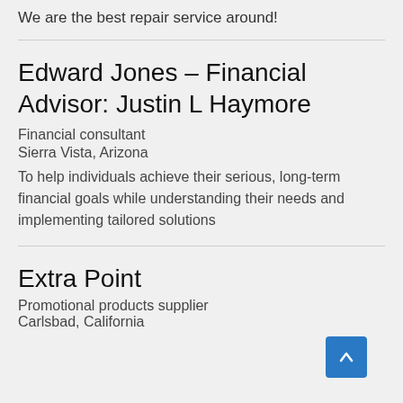We are the best repair service around!
Edward Jones – Financial Advisor: Justin L Haymore
Financial consultant
Sierra Vista, Arizona
To help individuals achieve their serious, long-term financial goals while understanding their needs and implementing tailored solutions
Extra Point
Promotional products supplier
Carlsbad, California